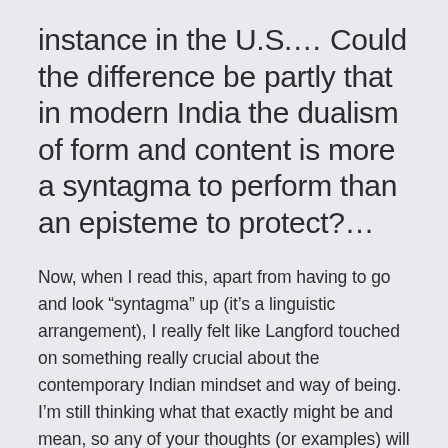instance in the U.S.... Could the difference be partly that in modern India the dualism of form and content is more a syntagma to perform than an episteme to protect?...
Now, when I read this, apart from having to go and look “syntagma” up (it’s a linguistic arrangement), I really felt like Langford touched on something really crucial about the contemporary Indian mindset and way of being.  I’m still thinking what that exactly might be and mean, so any of your thoughts (or examples) will be welcomed with open arms.
So, while my project does revolve around medical tourism, there is also a lot of interest in Ayurveda from